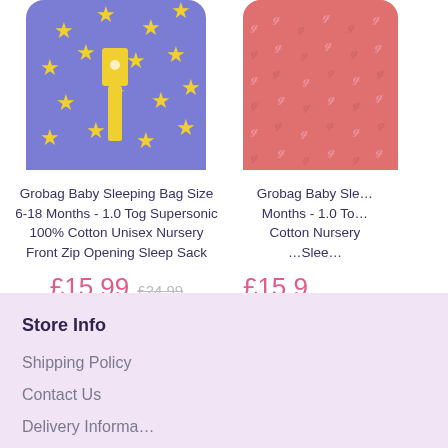[Figure (photo): Grobag baby sleeping bag with blue background and yellow stars pattern, with yellow zipper visible]
[Figure (photo): Grobag baby sleeping bag with pink/coral background and white seahorse/swirl pattern, partially cropped]
Grobag Baby Sleeping Bag Size 6-18 Months - 1.0 Tog Supersonic 100% Cotton Unisex Nursery Front Zip Opening Sleep Sack
£15.99  £24.99
Grobag Baby Sle... Months - 1.0 To... Cotton Nursery ... Slee...
£15.9...
Store Info
Shipping Policy
Contact Us
Delivery Information